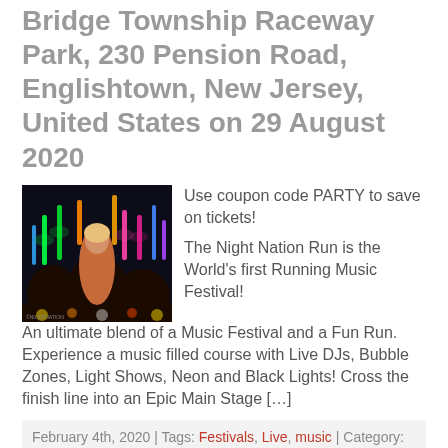Bridge Township Raceway Park, 230 Pension Road, Englishtown, New Jersey, United States on 29 August 2020
[Figure (photo): People at a night running festival holding glowing foam sticks with colorful lights in the background]
Use coupon code PARTY to save on tickets!
The Night Nation Run is the World's first Running Music Festival! An ultimate blend of a Music Festival and a Fun Run. Experience a music filled course with Live DJs, Bubble Zones, Light Shows, Neon and Black Lights! Cross the finish line into an Epic Main Stage […]
February 4th, 2020 | Tags: Festivals, Live, music | Category: Race Archive | Leave a comment